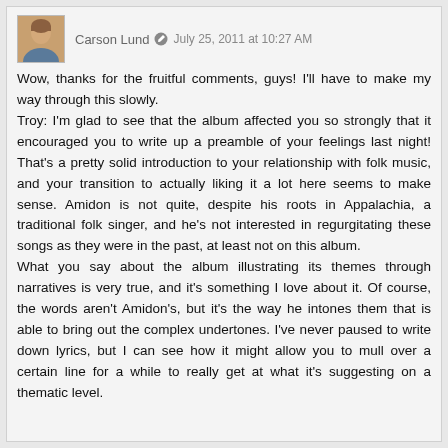Carson Lund · July 25, 2011 at 10:27 AM
Wow, thanks for the fruitful comments, guys! I'll have to make my way through this slowly.
Troy: I'm glad to see that the album affected you so strongly that it encouraged you to write up a preamble of your feelings last night! That's a pretty solid introduction to your relationship with folk music, and your transition to actually liking it a lot here seems to make sense. Amidon is not quite, despite his roots in Appalachia, a traditional folk singer, and he's not interested in regurgitating these songs as they were in the past, at least not on this album.
What you say about the album illustrating its themes through narratives is very true, and it's something I love about it. Of course, the words aren't Amidon's, but it's the way he intones them that is able to bring out the complex undertones. I've never paused to write down lyrics, but I can see how it might allow you to mull over a certain line for a while to really get at what it's suggesting on a thematic level.